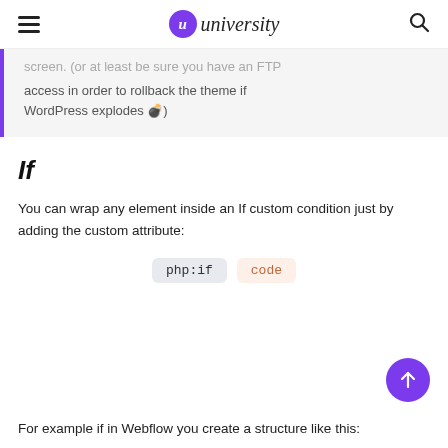u university
screen. (or at least be sure you have an FTP access in order to rollback the theme if WordPress explodes 💣)
If
You can wrap any element inside an If custom condition just by adding the custom attribute:
php:if   code
For example if in Webflow you create a structure like this: